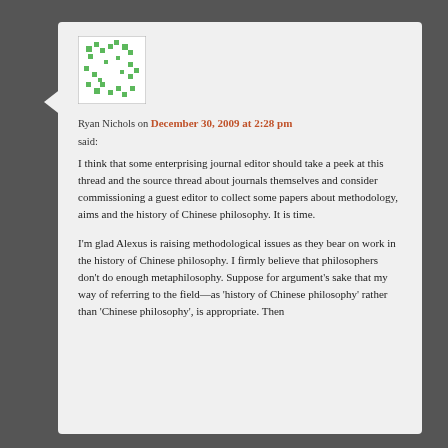[Figure (illustration): Avataar/profile image: a green and white pixel-pattern identicon square]
Ryan Nichols on December 30, 2009 at 2:28 pm
said:
I think that some enterprising journal editor should take a peek at this thread and the source thread about journals themselves and consider commissioning a guest editor to collect some papers about methodology, aims and the history of Chinese philosophy. It is time.
I'm glad Alexus is raising methodological issues as they bear on work in the history of Chinese philosophy. I firmly believe that philosophers don't do enough metaphilosophy. Suppose for argument's sake that my way of referring to the field—as 'history of Chinese philosophy' rather than 'Chinese philosophy', is appropriate. Then